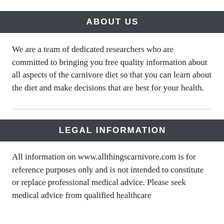ABOUT US
We are a team of dedicated researchers who are committed to bringing you free quality information about all aspects of the carnivore diet so that you can learn about the diet and make decisions that are best for your health.
LEGAL INFORMATION
All information on www.allthingscarnivore.com is for reference purposes only and is not intended to constitute or replace professional medical advice. Please seek medical advice from qualified healthcare